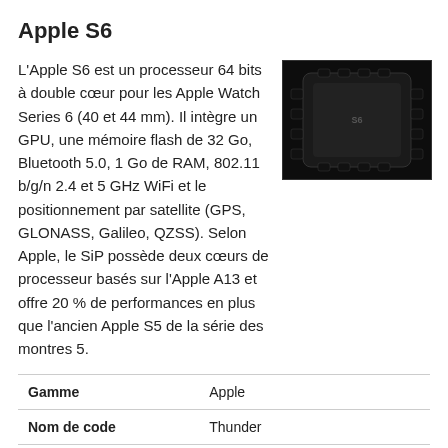Apple S6
L'Apple S6 est un processeur 64 bits à double cœur pour les Apple Watch Series 6 (40 et 44 mm). Il intègre un GPU, une mémoire flash de 32 Go, Bluetooth 5.0, 1 Go de RAM, 802.11 b/g/n 2.4 et 5 GHz WiFi et le positionnement par satellite (GPS, GLONASS, Galileo, QZSS). Selon Apple, le SiP possède deux cœurs de processeur basés sur l'Apple A13 et offre 20 % de performances en plus que l'ancien Apple S5 de la série des montres 5.
[Figure (photo): Photo of the Apple S6 chip, a dark-colored integrated circuit on black background]
| Gamme | Apple |
| Nom de code | Thunder |
| Gamme: Thunder | Apple S7   1.8 GHz  2 / 2 |